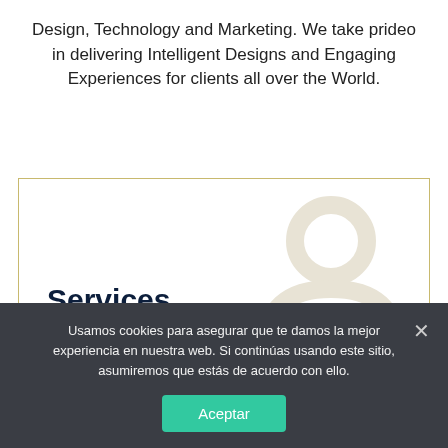Design, Technology and Marketing. We take prideo in delivering Intelligent Designs and Engaging Experiences for clients all over the World.
Services
[Figure (illustration): Light beige/cream person silhouette icon (head and shoulders outline) used as a decorative background element in the Services card]
Usamos cookies para asegurar que te damos la mejor experiencia en nuestra web. Si continúas usando este sitio, asumiremos que estás de acuerdo con ello.